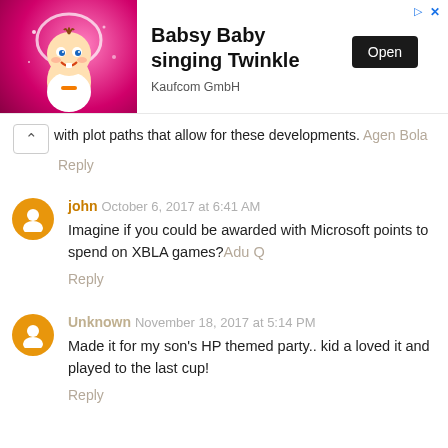[Figure (other): Advertisement banner for Babsy Baby singing Twinkle app by Kaufcom GmbH with an Open button]
with plot paths that allow for these developments. Agen Bola
Reply
john  October 6, 2017 at 6:41 AM
Imagine if you could be awarded with Microsoft points to spend on XBLA games? Adu Q
Reply
Unknown  November 18, 2017 at 5:14 PM
Made it for my son's HP themed party.. kid a loved it and played to the last cup!
Reply